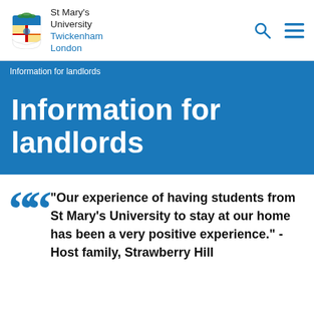[Figure (logo): St Mary's University Twickenham London crest logo with search and menu icons]
Information for landlords
Information for landlords
"Our experience of having students from St Mary's University to stay at our home has been a very positive experience." - Host family, Strawberry Hill